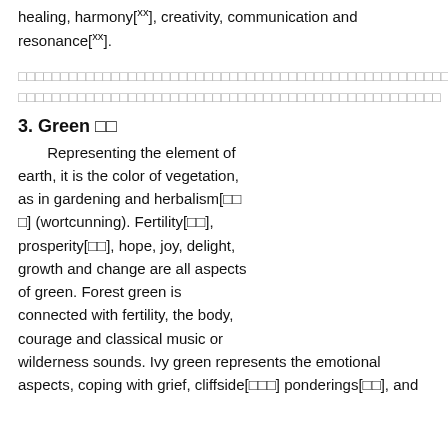healing, harmony[xx], creativity, communication and resonance[xx].
[CJK characters — placeholder text block]
3. Green [CJK]
Representing the element of earth, it is the color of vegetation, as in gardening and herbalism[xx] (wortcunning). Fertility[xx], prosperity[xx], hope, joy, delight, growth and change are all aspects of green. Forest green is connected with fertility, the body, courage and classical music or wilderness sounds. Ivy green represents the emotional aspects, coping with grief, cliffside[xxx] ponderings[xx], and